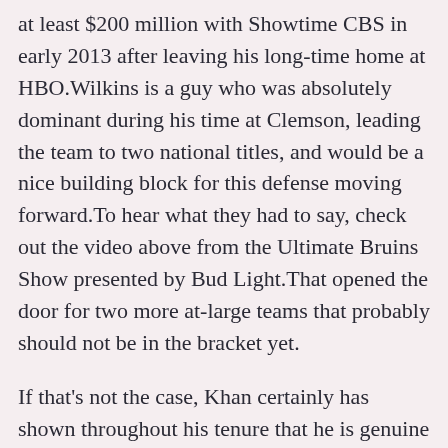at least $200 million with Showtime CBS in early 2013 after leaving his long-time home at HBO.Wilkins is a guy who was absolutely dominant during his time at Clemson, leading the team to two national titles, and would be a nice building block for this defense moving forward.To hear what they had to say, check out the video above from the Ultimate Bruins Show presented by Bud Light.That opened the door for two more at-large teams that probably should not be in the bracket yet.
If that's not the case, Khan certainly has shown throughout his tenure that he is genuine when he discusses believing in continuity.Although Hitchens didn't do much else of note for fantasy purposes, he finished fifth in the NFL in tackles wholesale jerseys thanks to a move from Dallas to Kansas City last offseason, boosting him onto the fantasy radar.